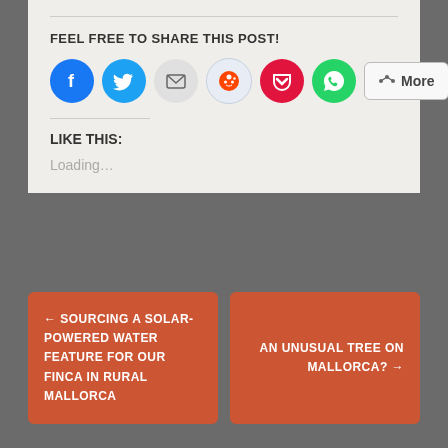FEEL FREE TO SHARE THIS POST!
[Figure (infographic): Row of social share buttons: Facebook (blue circle), Twitter (blue circle), Email (grey circle), Reddit (light blue circle), Pocket (red circle), WhatsApp (green circle), and a More button]
LIKE THIS:
Loading...
JAN EDWARDS • TAGGED COUNTRY HOMES IN MALLORCA, HAIL ON MALLORCA, MAJORCAN FINCA, THUNDERSTORMS • 4 COMMENTS
← SOURCING A SOLAR-POWERED WATER FEATURE FOR OUR FINCA IN RURAL MALLORCA
AN UNUSUAL TREE ON MALLORCA? →